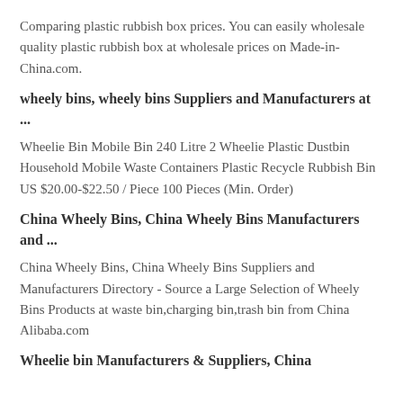Comparing plastic rubbish box prices. You can easily wholesale quality plastic rubbish box at wholesale prices on Made-in-China.com.
wheely bins, wheely bins Suppliers and Manufacturers at ...
Wheelie Bin Mobile Bin 240 Litre 2 Wheelie Plastic Dustbin Household Mobile Waste Containers Plastic Recycle Rubbish Bin US $20.00-$22.50 / Piece 100 Pieces (Min. Order)
China Wheely Bins, China Wheely Bins Manufacturers and ...
China Wheely Bins, China Wheely Bins Suppliers and Manufacturers Directory - Source a Large Selection of Wheely Bins Products at waste bin,charging bin,trash bin from China Alibaba.com
Wheelie bin Manufacturers & Suppliers, China